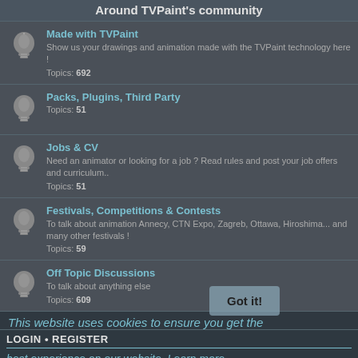Around TVPaint's community
Made with TVPaint
Show us your drawings and animation made with the TVPaint technology here !
Topics: 692
Packs, Plugins, Third Party
Topics: 51
Jobs & CV
Need an animator or looking for a job ? Read rules and post your job offers and curriculum..
Topics: 51
Festivals, Competitions & Contests
To talk about animation Annecy, CTN Expo, Zagreb, Ottawa, Hiroshima... and many other festivals !
Topics: 59
Off Topic Discussions
To talk about anything else
Topics: 609
This website uses cookies to ensure you get the best experience on our website. Learn more
LOGIN • REGISTER
Username:
Password:
I forgot my password
Remember me
Got it!
WHO IS ONLINE